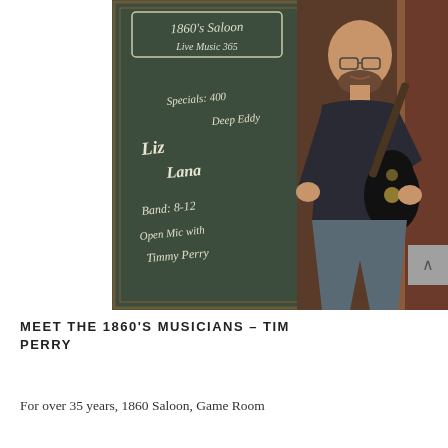[Figure (photo): A bald man with glasses and a beard holding a black electric guitar, standing next to a chalkboard sign that reads: '1860's Saloon Live Music 365, Specials: 400 Deep Eddy, Liz, Lana, Band: 8-12, Open Mic with Timmy Perry']
MEET THE 1860'S MUSICIANS - TIM PERRY
For over 35 years, 1860 Saloon, Game Room